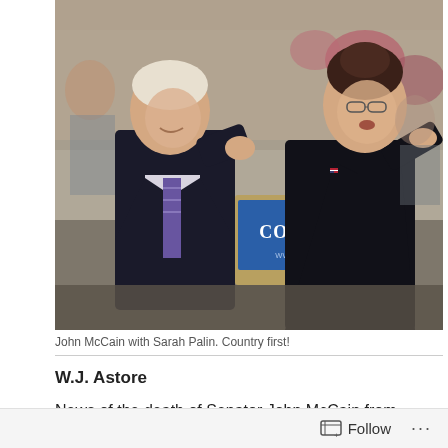[Figure (photo): John McCain and Sarah Palin at a campaign rally. Sarah Palin is speaking at a podium with a blue sign reading 'COUNTRY FIRST' and 'www.johnmccain.com'. John McCain stands to her left, smiling. Crowd visible in background.]
John McCain with Sarah Palin.  Country first!
W.J. Astore
News of the death of Senator John McCain from cancer has generated enormous sympathy and praise. Whe...
Follow ...